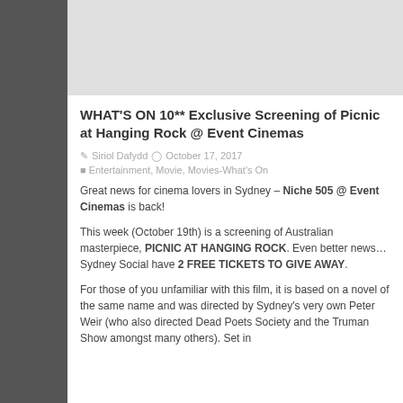[Figure (photo): Light gray placeholder image at top of article]
WHAT'S ON 10** Exclusive Screening of Picnic at Hanging Rock @ Event Cinemas
By Siriol Dafydd | October 17, 2017
Entertainment, Movie, Movies-What's On
Great news for cinema lovers in Sydney – Niche 505 @ Event Cinemas is back!
This week (October 19th) is a screening of Australian masterpiece, PICNIC AT HANGING ROCK. Even better news… Sydney Social have 2 FREE TICKETS TO GIVE AWAY.
For those of you unfamiliar with this film, it is based on a novel of the same name and was directed by Sydney's very own Peter Weir (who also directed Dead Poets Society and the Truman Show amongst many others). Set in